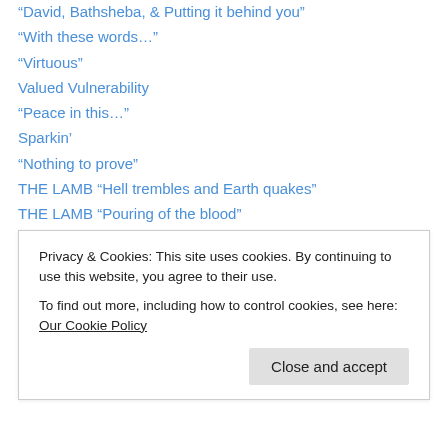“David, Bathsheba, & Putting it behind you”
“With these words…”
“Virtuous”
Valued Vulnerability
“Peace in this…”
Sparkin’
“Nothing to prove”
THE LAMB “Hell trembles and Earth quakes”
THE LAMB “Pouring of the blood”
“Behold your King”
“The terror in tempting God”
“Among the dead”
“Kingdom of Christ” Part 1 *Responsibility*
Privacy & Cookies: This site uses cookies. By continuing to use this website, you agree to their use. To find out more, including how to control cookies, see here: Our Cookie Policy
Close and accept